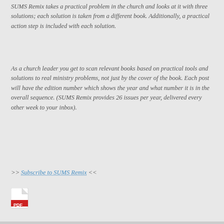SUMS Remix takes a practical problem in the church and looks at it with three solutions; each solution is taken from a different book. Additionally, a practical action step is included with each solution.
As a church leader you get to scan relevant books based on practical tools and solutions to real ministry problems, not just by the cover of the book. Each post will have the edition number which shows the year and what number it is in the overall sequence. (SUMS Remix provides 26 issues per year, delivered every other week to your inbox).
>> Subscribe to SUMS Remix <<
[Figure (illustration): PDF file icon — red and white Adobe PDF logo icon]